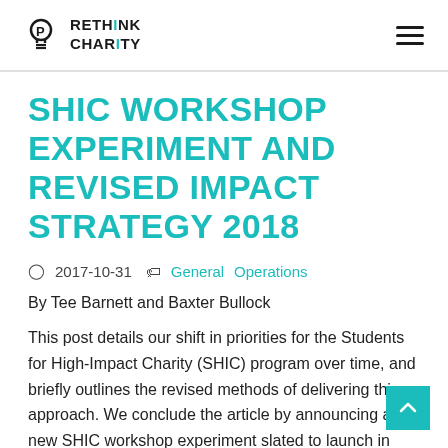RETHINK CHARITY
SHIC WORKSHOP EXPERIMENT AND REVISED IMPACT STRATEGY 2018
2017-10-31  General  Operations
By Tee Barnett and Baxter Bullock
This post details our shift in priorities for the Students for High-Impact Charity (SHIC) program over time, and briefly outlines the revised methods of delivering this approach. We conclude the article by announcing a new SHIC workshop experiment slated to launch in early